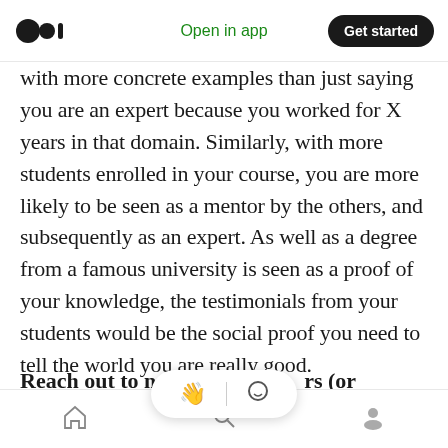Medium logo | Open in app | Get started
with more concrete examples than just saying you are an expert because you worked for X years in that domain. Similarly, with more students enrolled in your course, you are more likely to be seen as a mentor by the others, and subsequently as an expert. As well as a degree from a famous university is seen as a proof of your knowledge, the testimonials from your students would be the social proof you need to tell the world you are really good.
Reach out to new po[tential followe]rs (or customers)
This point is the direct consequence of the